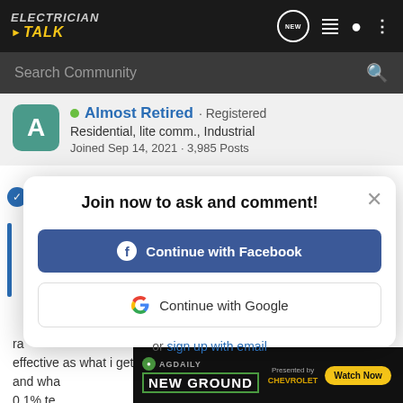ELECTRICIAN TALK
Search Community
Almost Retired · Registered
Residential, lite comm., Industrial
Joined Sep 14, 2021 · 3,985 Posts
Join now to ask and comment!
Continue with Facebook
Continue with Google
or sign up with email
ra
effective as what i get used to
and wha
0.1% te
[Figure (screenshot): AG Daily New Ground advertisement banner with Chevrolet branding and Watch Now button]